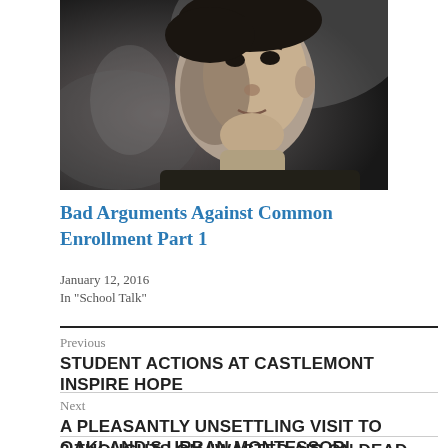[Figure (photo): Black and white close-up photo of a young child looking slightly upward]
Bad Arguments Against Common Enrollment Part 1
January 12, 2016
In "School Talk"
Previous
STUDENT ACTIONS AT CASTLEMONT INSPIRE HOPE
Next
A PLEASANTLY UNSETTLING VISIT TO OAKLAND'S URBAN MONTESSORI
2 THOUGHTS ON "WASTED AIR ON DEAD ISSUES IN